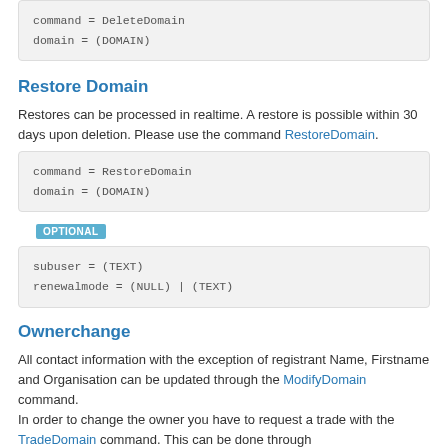[Figure (other): Code block showing: command = DeleteDomain / domain = (DOMAIN)]
Restore Domain
Restores can be processed in realtime. A restore is possible within 30 days upon deletion. Please use the command RestoreDomain.
[Figure (other): Code block showing: command = RestoreDomain / domain = (DOMAIN)]
OPTIONAL
[Figure (other): Code block showing: subuser = (TEXT) / renewalmode = (NULL) | (TEXT)]
Ownerchange
All contact information with the exception of registrant Name, Firstname and Organisation can be updated through the ModifyDomain command.
In order to change the owner you have to request a trade with the TradeDomain command. This can be done through